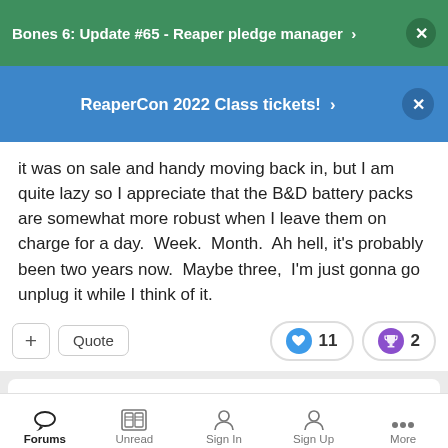Bones 6: Update #65 - Reaper pledge manager ›
ReaperCon 2022 Class tickets! ›
it was on sale and handy moving back in, but I am quite lazy so I appreciate that the B&D battery packs are somewhat more robust when I leave them on charge for a day.  Week.  Month.  Ah hell, it's probably been two years now.  Maybe three,  I'm just gonna go unplug it while I think of it.
| Replies | Created | Last Reply |
| --- | --- | --- |
| 12.6k | 1 yr | 4 min |
Forums  Unread  Sign In  Sign Up  More